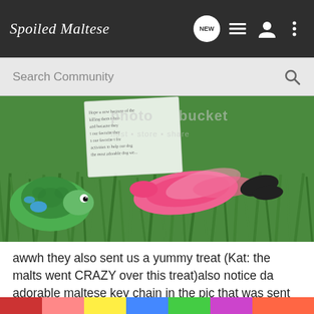Spoiled Maltese — navigation bar with NEW, list, profile, menu icons
Search Community
[Figure (photo): Photo on grass background showing pink flamingo plush toy and green turtle plush toy with a handwritten note letter partially visible. Photobucket watermark overlay reading 'photobucket host • store • share' visible in the image.]
awwh they also sent us a yummy treat (Kat: the malts went CRAZY over this treat)also notice da adorable maltese key chain in the pic that was sent to mama:wub:
[Figure (photo): Colorful bottom image strip partially visible at page bottom edge]